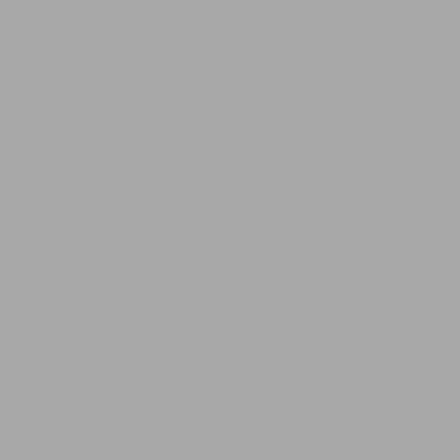[Figure (other): A rounded pill-shaped button with salmon/coral color reading LEARN MORE in white bold uppercase text]
RESOURCES
FAQs
Delivery Dates
Sales & Promotions
Free Printable Games
Happy Customers
Feedback
Why Choose Us?
POLICIES
Privacy Policy
Terms & Conditions